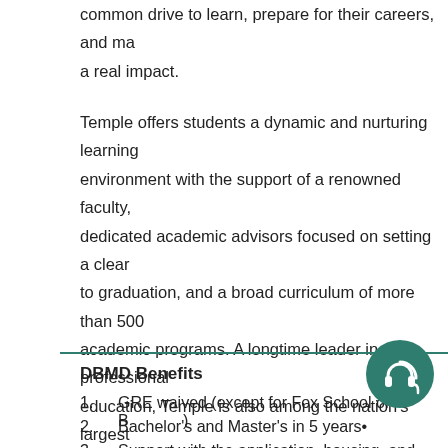common drive to learn, prepare for their careers, and make a real impact.
Temple offers students a dynamic and nurturing learning environment with the support of a renowned faculty, dedicated academic advisors focused on setting a clear path to graduation, and a broad curriculum of more than 500 academic programs. A longtime leader in professional education, Temple is also among the nation's largest educators in the combined fields of dentistry, law, medicine, pharmacy, and podiatry.
DBMD Benefits
GRE waived (except for Fox School of Business)
Bachelor's and Master's in 5 years•
Support with the application, housing, and academic...